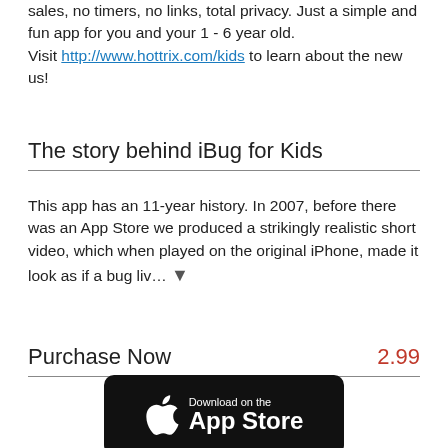sales, no timers, no links, total privacy. Just a simple and fun app for you and your 1 - 6 year old. Visit http://www.hottrix.com/kids to learn about the new us!
The story behind iBug for Kids
This app has an 11-year history. In 2007, before there was an App Store we produced a strikingly realistic short video, which when played on the original iPhone, made it look as if a bug liv… ▾
Purchase Now   2.99
[Figure (logo): Download on the App Store badge — black rounded rectangle with white Apple logo and text 'Download on the App Store']